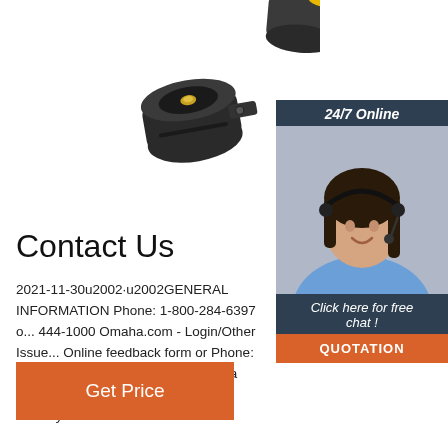[Figure (photo): Product photo of a black plastic trailer connector/plug set with yellow cap, shown from above on white background]
[Figure (photo): Online customer support widget showing woman with headset smiling, dark background with '24/7 Online' label, 'Click here for free chat!' text, and orange QUOTATION button]
Contact Us
2021-11-30u2002·u2002GENERAL INFORMATION Phone: 1-800-284-6397 or 444-1000 Omaha.com - Login/Other Issues Online feedback form or Phone: 402-346-3... Score your Deal Omaha Phone: 1-877-531-3216 Newspaper delivery ...
[Figure (other): Orange 'Get Price' button]